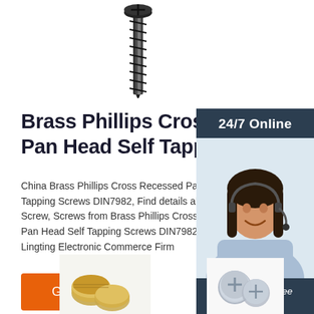[Figure (photo): Close-up photo of a black screw tip pointing downward from the top of the page]
Brass Phillips Cross Recessed Pan Head Self Tapping
China Brass Phillips Cross Recessed Pan Head Self Tapping Screws DIN7982, Find details about Screw, Screws from Brass Phillips Cross Recessed Pan Head Self Tapping Screws DIN7982 - Yi Lingting Electronic Commerce Firm
[Figure (photo): Sidebar widget with dark blue/grey background showing 24/7 Online text at top, photo of woman with headset smiling, and Click here for free chat! text with orange QUOTATION button]
[Figure (photo): Bottom left: brass screws product photo]
[Figure (photo): Bottom right: silver/grey screws product photo]